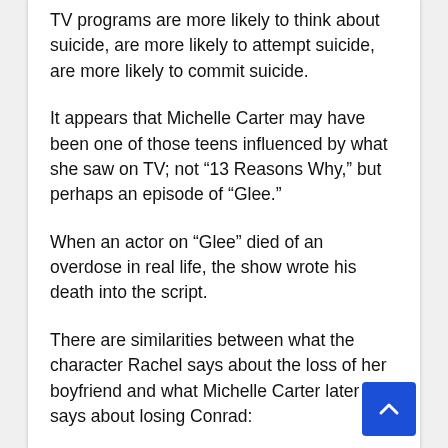TV programs are more likely to think about suicide, are more likely to attempt suicide, are more likely to commit suicide.
It appears that Michelle Carter may have been one of those teens influenced by what she saw on TV; not “13 Reasons Why,” but perhaps an episode of “Glee.”
When an actor on “Glee” died of an overdose in real life, the show wrote his death into the script.
There are similarities between what the character Rachel says about the loss of her boyfriend and what Michelle Carter later says about losing Conrad: